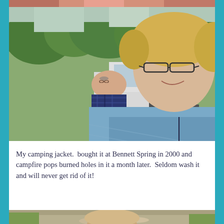[Figure (photo): Partial view of a person's face at the top of the page, cropped selfie-style photo]
[Figure (photo): Outdoor selfie photo of two people near a white pickup truck with green trees in background. A woman with blonde hair and glasses wearing a blue fleece jacket in the foreground, and an older man with glasses wearing a plaid shirt in the background.]
My camping jacket.  bought it at Bennett Spring in 2000 and campfire pops burned holes in it a month later.  Seldom wash it and will never get rid of it!
[Figure (photo): Partial view of the top of a photo at the bottom of the page, showing grass/gravel and the top of a person's head]